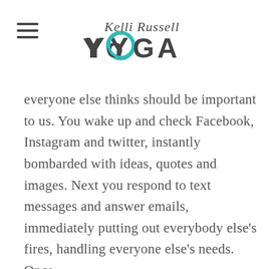Kelli Russell YOGA
everyone else thinks should be important to us. You wake up and check Facebook, Instagram and twitter, instantly bombarded with ideas, quotes and images. Next you respond to text messages and answer emails, immediately putting out everybody else's fires, handling everyone else's needs. Once